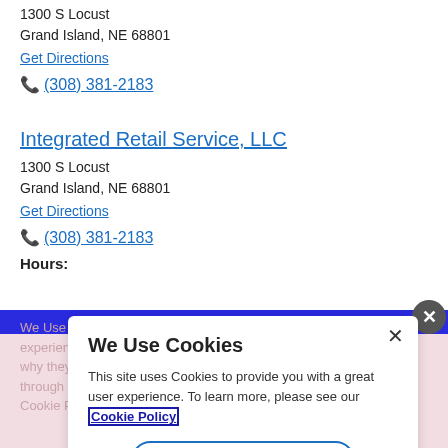1300 S Locust
Grand Island, NE 68801
Get Directions
(308) 381-2183
Integrated Retail Service, LLC
1300 S Locust
Grand Island, NE 68801
Get Directions
(308) 381-2183
Hours:
We Use Cookies
This site uses Cookies to provide you with a great user experience. To learn more, please see our Cookie Policy
Cookie Preference Center